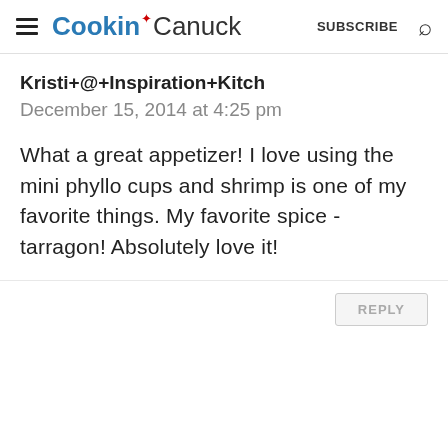Cookin Canuck | SUBSCRIBE
Kristi+@+Inspiration+Kitch
December 15, 2014 at 4:25 pm
What a great appetizer! I love using the mini phyllo cups and shrimp is one of my favorite things. My favorite spice - tarragon! Absolutely love it!